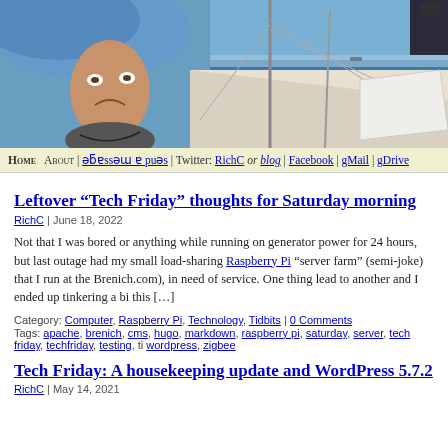[Figure (photo): Blog header banner showing a person hanging upside down on the left side and a sailboat deck with ocean view on the right, under a blue sky.]
Home | About | ǝƃɐssǝɯ ɐ puǝs | Twitter: RichC or blog | Facebook | gMail | gDrive
Leftover “Tech Friday” thoughts for Saturday morning
RichC | June 18, 2022
Not that I was bored or anything while running on generator power for 24 hours, but last outage had my small load-sharing Raspberry Pi “server farm” (semi-joke) that I run at the Brenich.com), in need of service. One thing lead to another and I ended up tinkering a bi this […]
Category: Computer, Raspberry Pi, Technology, Tidbits | 0 Comments
Tags: apache, brenich, cms, hugo, markdown, raspberry pi, saturday, server, tech friday, techfriday, testing, ti wordpress, zigbee
Tech Friday: A housekeeping update and WordPress 5.7.2
RichC | May 14, 2021